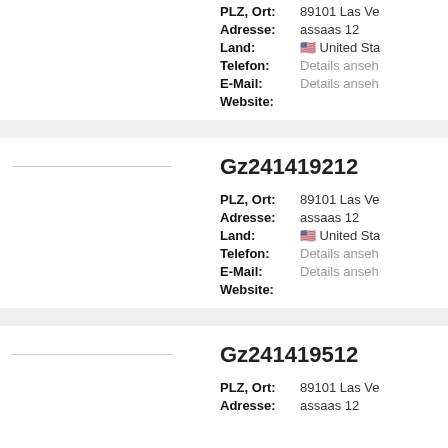PLZ, Ort: 89101 Las Ve
Adresse: assaas 12
Land: United Sta
Telefon: Details anseh
E-Mail: Details anseh
Website:
Gz241419212
PLZ, Ort: 89101 Las Ve
Adresse: assaas 12
Land: United Sta
Telefon: Details anseh
E-Mail: Details anseh
Website:
Gz241419512
PLZ, Ort: 89101 Las Ve
Adresse: assaas 12